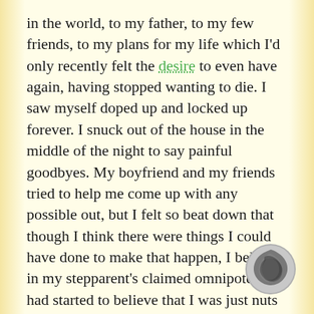in the world, to my father, to my few friends, to my plans for my life which I'd only recently felt the desire to even have again, having stopped wanting to die. I saw myself doped up and locked up forever. I snuck out of the house in the middle of the night to say painful goodbyes. My boyfriend and my friends tried to help me come up with any possible out, but I felt so beat down that though I think there were things I could have done to make that happen, I believed in my stepparent's claimed omnipotence, I had started to believe that I was just nuts and broken, I believed again that I was powerless.
My stepfather, my mother and I drove a long way to see this guy. As ever, I had my giant bag I panhandled with packed with my own version of
[Figure (logo): Circular logo with dark swirling pattern on grey background]